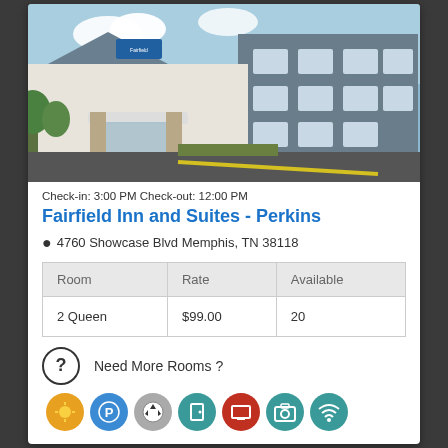[Figure (photo): Exterior photo of Fairfield Inn and Suites hotel building with blue sky background]
Check-in: 3:00 PM Check-out: 12:00 PM
Fairfield Inn and Suites - Perkins
4760 Showcase Blvd Memphis, TN 38118
| Room | Rate | Available |
| --- | --- | --- |
| 2 Queen | $99.00 | 20 |
Need More Rooms ?
[Figure (infographic): Row of amenity icons: weather/sun, parking P, soccer ball, door/window, TV/screen, camera, wifi]